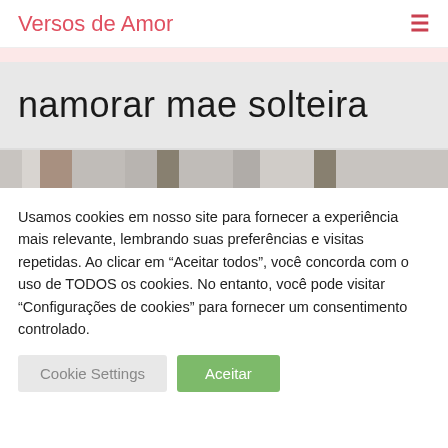Versos de Amor
namorar mae solteira
[Figure (photo): Partial view of an image below the title box, showing blurred/pixelated brown and gray tones]
Usamos cookies em nosso site para fornecer a experiência mais relevante, lembrando suas preferências e visitas repetidas. Ao clicar em "Aceitar todos", você concorda com o uso de TODOS os cookies. No entanto, você pode visitar "Configurações de cookies" para fornecer um consentimento controlado.
Cookie Settings
Aceitar